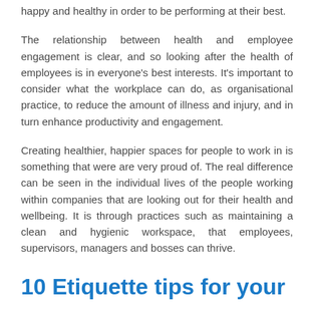happy and healthy in order to be performing at their best.
The relationship between health and employee engagement is clear, and so looking after the health of employees is in everyone's best interests. It's important to consider what the workplace can do, as organisational practice, to reduce the amount of illness and injury, and in turn enhance productivity and engagement.
Creating healthier, happier spaces for people to work in is something that were are very proud of. The real difference can be seen in the individual lives of the people working within companies that are looking out for their health and wellbeing. It is through practices such as maintaining a clean and hygienic workspace, that employees, supervisors, managers and bosses can thrive.
10 Etiquette tips for your